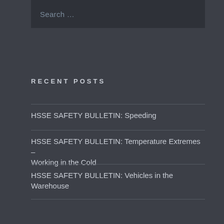Search …
RECENT POSTS
HSSE SAFETY BULLETIN: Speeding
HSSE SAFETY BULLETIN: Temperature Extremes – Working in the Cold
HSSE SAFETY BULLETIN: Vehicles in the Warehouse
HSSE SAFETY BULLETIN: Signing In
HSSE SAFETY BULLETIN: Alberta One-Call